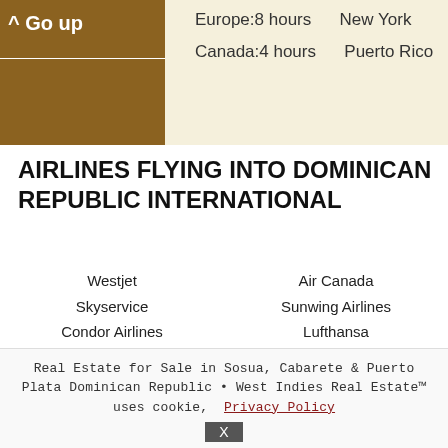^ Go up | Europe: 8 hours | New York | Canada: 4 hours | Puerto Rico
AIRLINES FLYING INTO DOMINICAN REPUBLIC INTERNATIONAL
Westjet
Skyservice
Condor Airlines
United Airlines
Jet Blue
LAN airlines
Air Canada
Sunwing Airlines
Lufthansa
LTU Airlines
Delta American Airlines
Copa Airlines
TUI UK
MyTravel Airlines
Real Estate for Sale in Sosua, Cabarete & Puerto Plata Dominican Republic • West Indies Real Estate™ uses cookie, Privacy Policy X